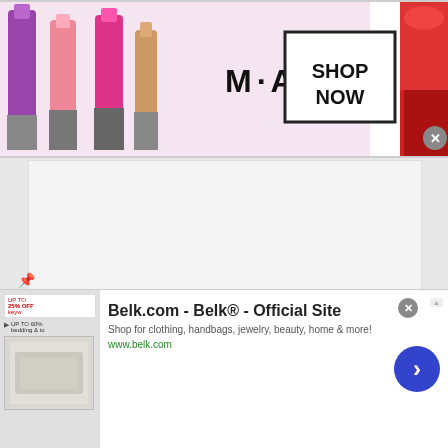[Figure (screenshot): MAC Cosmetics banner advertisement showing colorful lipsticks on left side, M·A·C logo in center, and SHOP NOW button in a box on the right with a red lipstick on far right. A close X button is visible.]
[Figure (screenshot): Gray content placeholder area below the MAC banner ad]
[Figure (logo): Top Restaurant Prices logo with star rating icons and green/orange text reading 'Restaurant' with 'TOP' vertical text and 'PRICES' text]
TOP RESTAURANT PRICES
PRIVACY POLICY
[Figure (screenshot): Belk.com advertisement banner at bottom of page. Shows 'Belk.com - Belk® - Official Site' as headline, 'Shop for clothing, handbags, jewelry, beauty, home & more!' as description, 'www.belk.com' URL in green, a bedding image thumbnail, left panel with discount offers, and a blue circle arrow button on the right. Close X button visible.]